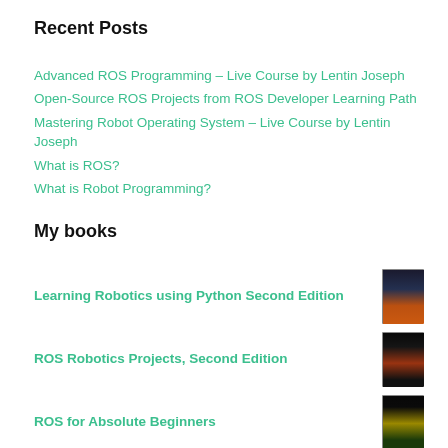Recent Posts
Advanced ROS Programming – Live Course by Lentin Joseph
Open-Source ROS Projects from ROS Developer Learning Path
Mastering Robot Operating System – Live Course by Lentin Joseph
What is ROS?
What is Robot Programming?
My books
Learning Robotics using Python Second Edition
ROS Robotics Projects, Second Edition
ROS for Absolute Beginners